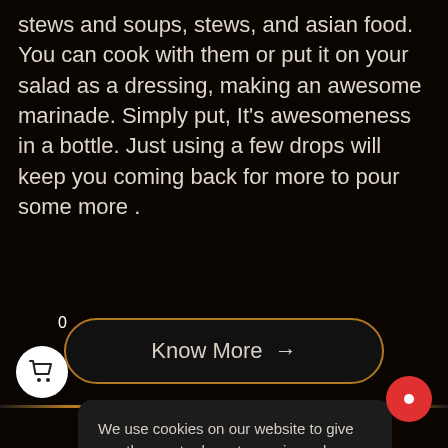stews and soups, stews, and asian food. You can cook with them or put it on your salad as a dressing, making an awesome marinade. Simply put, It's awesomeness in a bottle. Just using a few drops will keep you coming back for more to pour some more .
[Figure (screenshot): A dark-themed button with gold border reading 'Know More →']
We use cookies on our website to give you the most relevant experience by remembering your preferences and repeat visits. By clicking "Accept", you consent to the use of ALL the cookies.
Do not sell my personal information.
[Figure (screenshot): Cookie Settings and Accept buttons in a cookie consent dialog]
[Figure (screenshot): Shopping cart icon with badge showing 0]
[Figure (screenshot): Red circular chat button in bottom right corner]
[Figure (screenshot): Row of small gold square dots at the bottom of the page]